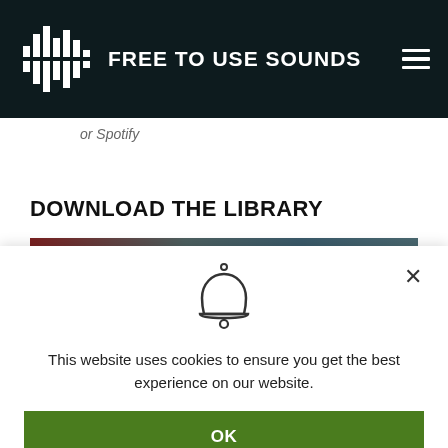FREE TO USE SOUNDS
or Spotify
DOWNLOAD THE LIBRARY
[Figure (photo): Partial view of a library or forest scene image]
[Figure (illustration): Bell icon for cookie notification popup]
This website uses cookies to ensure you get the best experience on our website.
OK